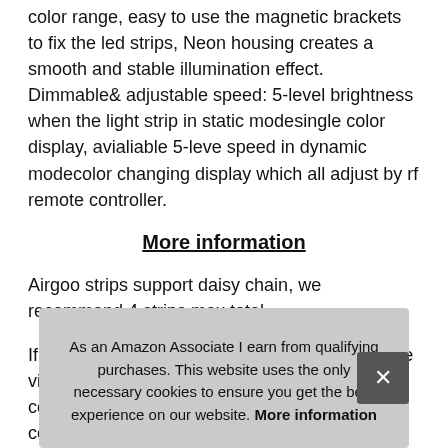color range, easy to use the magnetic brackets to fix the led strips, Neon housing creates a smooth and stable illumination effect. Dimmable& adjustable speed: 5-level brightness when the light strip in static modesingle color display, avialiable 5-leve speed in dynamic modecolor changing display which all adjust by rf remote controller.
More information
Airgoo strips support daisy chain, we recommand 4 strips max total.
If you need more, 2x neon rgb LED Strip, please visit Airgoo Store on Amazon. 2-way to control: connected by 12v rgb 4-pin hea... con... afte... cold... strong magnetic brackets, can be curved in any shape,
As an Amazon Associate I earn from qualifying purchases. This website uses the only necessary cookies to ensure you get the best experience on our website. More information